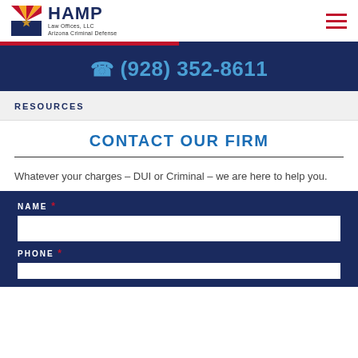HAMP Law Offices, LLC — Arizona Criminal Defense
(928) 352-8611
RESOURCES
CONTACT OUR FIRM
Whatever your charges – DUI or Criminal – we are here to help you.
NAME * [input field]
PHONE * [input field]